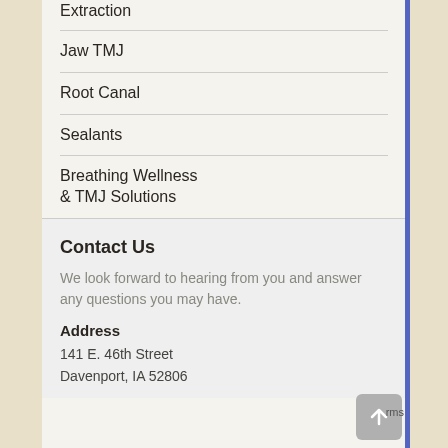Extraction
Jaw TMJ
Root Canal
Sealants
Breathing Wellness & TMJ Solutions
Contact Us
We look forward to hearing from you and answer any questions you may have.
Address
141 E. 46th Street
Davenport, IA 52806